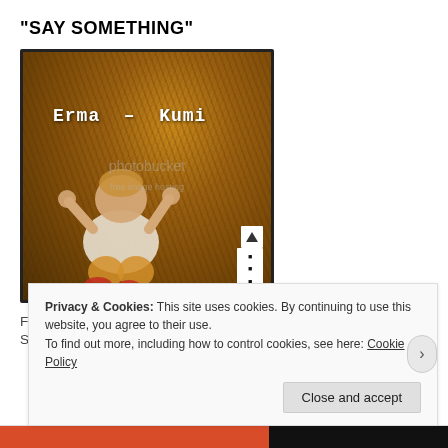"SAY SOMETHING"
[Figure (photo): Album cover showing a toddler sitting on autumn grass with hands raised, text reads 'Erma - Kumi'. Has BBC logo badge and Photobucket watermark overlay.]
Fess Grandiose & Impolite Society - "Say Something" (Produced by Erma)
Privacy & Cookies: This site uses cookies. By continuing to use this website, you agree to their use.
To find out more, including how to control cookies, see here: Cookie Policy
Close and accept